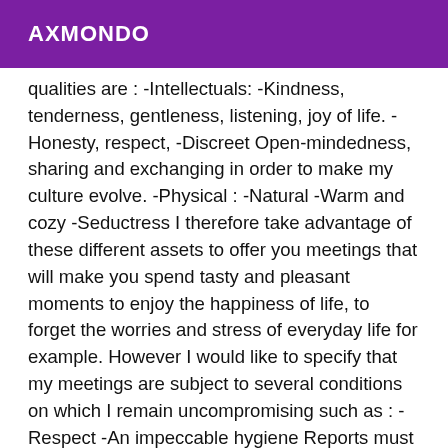AXMONDO
qualities are : -Intellectuals: -Kindness, tenderness, gentleness, listening, joy of life. -Honesty, respect, -Discreet Open-mindedness, sharing and exchanging in order to make my culture evolve. -Physical : -Natural -Warm and cozy -Seductress I therefore take advantage of these different assets to offer you meetings that will make you spend tasty and pleasant moments to enjoy the happiness of life, to forget the worries and stress of everyday life for example. However I would like to specify that my meetings are subject to several conditions on which I remain uncompromising such as : -Respect -An impeccable hygiene Reports must be protected. If you are a beginner, don't worry, I will harmonize myself to your rhythm and your desires so that your discovery will be unforgettable. I am generally available between 10am and 2am, but sometimes your schedule may vary. If necessary do not hesitate to contact me for more information. I remain available and